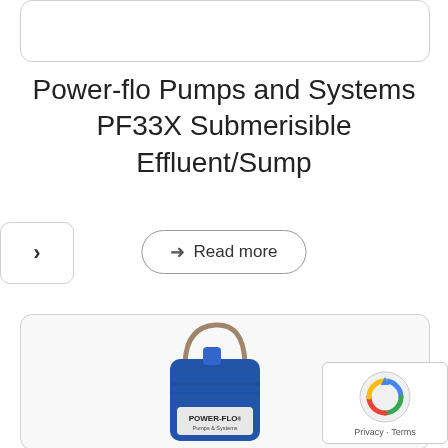Power-flo Pumps and Systems PF33X Submerisible Effluent/Sump
Read more
[Figure (photo): Blue Power-Flo submersible effluent/sump pump with metal handle, labeled POWER-FLO Pumps & Systems]